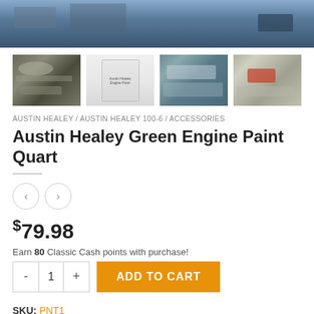[Figure (photo): Top portion of car engine bay, blue/grey tones, partially cropped]
[Figure (photo): Four product thumbnail images: 1) car engine close-up, 2) white paint can with label, 3) engine bay with silver/blue tones, 4) engine bay with red cap visible]
AUSTIN HEALEY / AUSTIN HEALEY 100-6 / ACCESSORIES
Austin Healey Green Engine Paint Quart
Navigation prev/next buttons
$79.98
Earn 80 Classic Cash points with purchase!
Quantity: 1, ADD TO CART button
SKU: PNT1